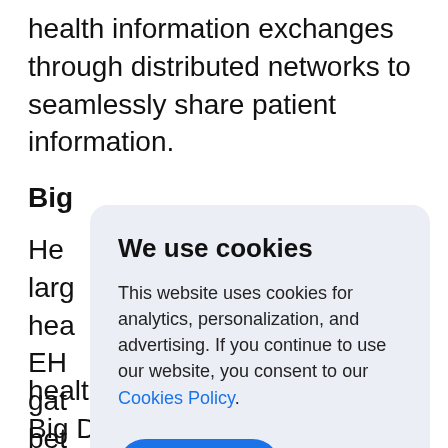health information exchanges through distributed networks to seamlessly share patient information.
Big
He larg hea EH gat bet dia
healthcare costs. Moreover, Big Data analytics
[Figure (screenshot): Cookie consent dialog overlay with title 'We use cookies', body text about analytics/personalization/advertising, a blue 'Cookies Policy' link, and a blue 'Accept' button.]